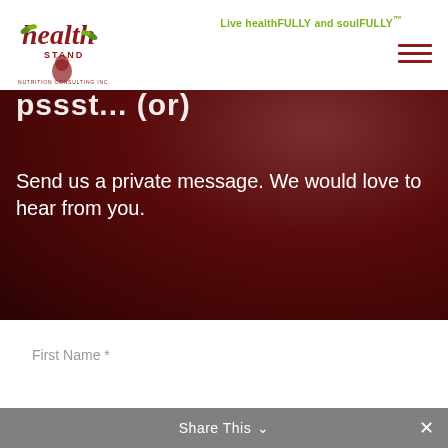[Figure (logo): Health Stand Nutrition Consulting Inc. logo with stylized text and green leaf/pear graphic in dark red/maroon color]
Live healthFULLY and soulFULLY™
pssst... (or)
Send us a private message. We would love to hear from you.
First Name *
Last Name
Email *
Share This